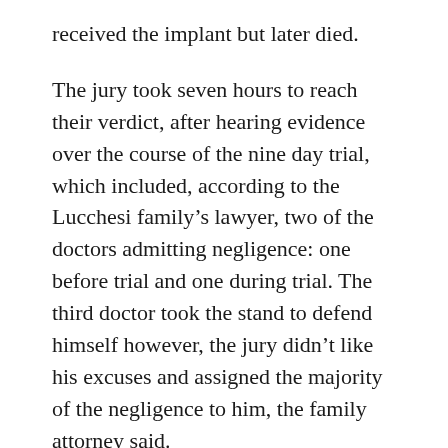received the implant but later died.
The jury took seven hours to reach their verdict, after hearing evidence over the course of the nine day trial, which included, according to the Lucchesi family’s lawyer, two of the doctors admitting negligence: one before trial and one during trial. The third doctor took the stand to defend himself however, the jury didn’t like his excuses and assigned the majority of the negligence to him, the family attorney said.
According to the Lucchesi family’s pretrial memorandum, the doctors at Mercy implanted the vein filter in Lucchesi six months before he